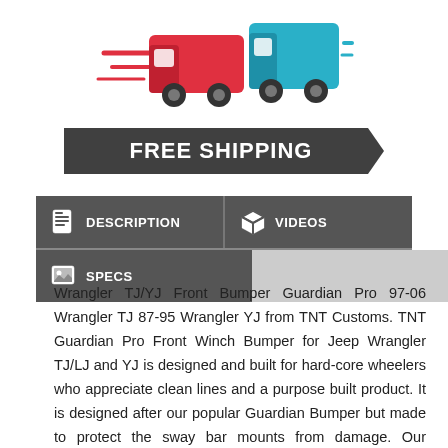[Figure (illustration): Red and teal cartoon delivery trucks speeding to the right, with motion lines]
[Figure (infographic): Dark grey arrow banner with bold white text FREE SHIPPING]
[Figure (infographic): Navigation tabs: DESCRIPTION (document icon), VIDEOS (box icon), SPECS (image icon)]
Wrangler TJ/YJ Front Bumper Guardian Pro 97-06 Wrangler TJ 87-95 Wrangler YJ from TNT Customs. TNT Guardian Pro Front Winch Bumper for Jeep Wrangler TJ/LJ and YJ is designed and built for hard-core wheelers who appreciate clean lines and a purpose built product. It is designed after our popular Guardian Bumper but made to protect the sway bar mounts from damage. Our Guardian Pro bumper has the same approach angle and ground clearance